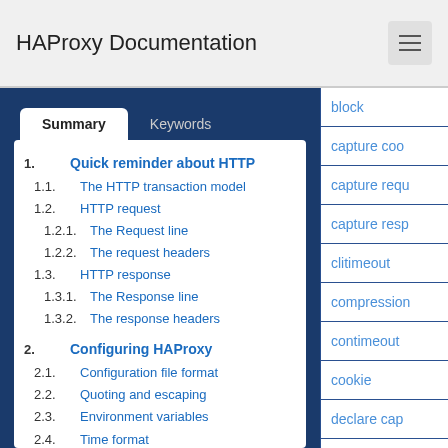HAProxy Documentation
1. Quick reminder about HTTP
1.1. The HTTP transaction model
1.2. HTTP request
1.2.1. The Request line
1.2.2. The request headers
1.3. HTTP response
1.3.1. The Response line
1.3.2. The response headers
2. Configuring HAProxy
2.1. Configuration file format
2.2. Quoting and escaping
2.3. Environment variables
2.4. Time format
2.5. Examples
3. Global parameters
block
capture coo…
capture requ…
capture resp…
clitimeout
compression
contimeout
cookie
declare cap…
default-serv…
default_bac…